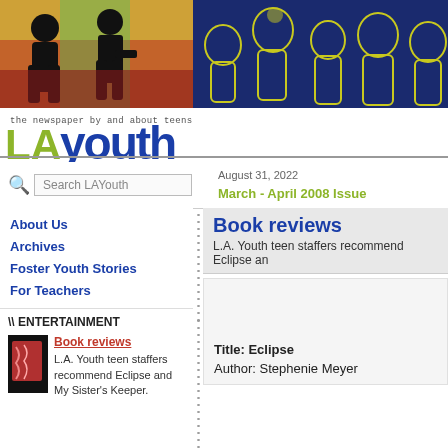[Figure (illustration): LA Youth newspaper banner header with colorful illustration on left (silhouettes of teens against colorful background) and blue background with yellow sketch of crowd on right. LA Youth logo with green 'LA' and blue 'youth' text, tagline 'the newspaper by and about teens']
August 31, 2022
March - April 2008 Issue
About Us
Archives
Foster Youth Stories
For Teachers
\\ ENTERTAINMENT
Book reviews
L.A. Youth teen staffers recommend Eclipse and My Sister's Keeper.
Book reviews
L.A. Youth teen staffers recommend Eclipse and
Title: Eclipse
Author: Stephenie Meyer